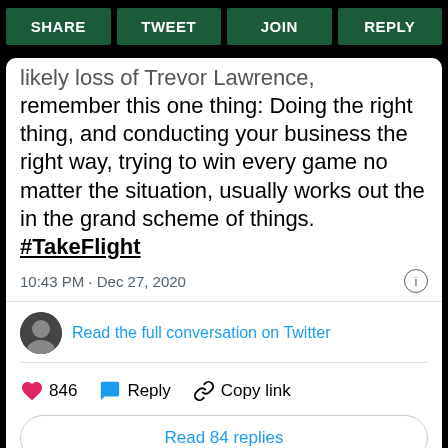SHARE | TWEET | JOIN | REPLY
likely loss of Trevor Lawrence, remember this one thing: Doing the right thing, and conducting your business the right way, trying to win every game no matter the situation, usually works out the in the grand scheme of things. #TakeFlight
10:43 PM · Dec 27, 2020
Read the full conversation on Twitter
846  Reply  Copy link
Read 84 replies
Senszio
Handmade by Expert Tailors
BOOK NOW